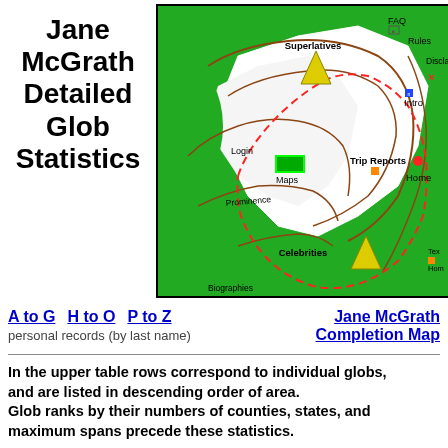Jane McGrath Detailed Glob Statistics
[Figure (map): Interactive navigation map showing topographic terrain with green and white areas, brown contour lines, red dashed path, yellow triangle peaks, and navigation links: FAQ, Rules, Disclaimer, Login, Intro, Maps, Trip Reports, Home, Prominence, Biographies, Celebrities, Texas Home]
A to G   H to O   P to Z
personal records (by last name)
Jane McGrath Completion Map
In the upper table rows correspond to individual globs, and are listed in descending order of area.
Glob ranks by their numbers of counties, states, and maximum spans precede these statistics.
The next table rows pertain to each glob...